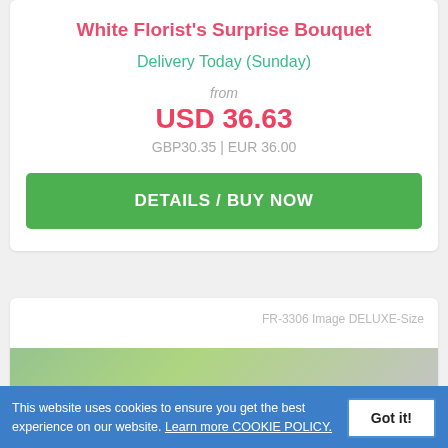White Florist's Surprise Bouquet
Delivery Today (Sunday)
from
USD 36.63
GBP30.35 | EUR 36.00
DETAILS / BUY NOW
FR-3306 Image DELUXE-Size
This website uses cookies to ensure you get the best experience on our website. Learn more COOKIE POLICY.
Got it!